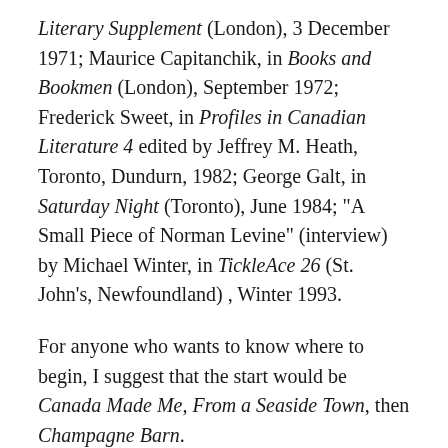Literary Supplement (London), 3 December 1971; Maurice Capitanchik, in Books and Bookmen (London), September 1972; Frederick Sweet, in Profiles in Canadian Literature 4 edited by Jeffrey M. Heath, Toronto, Dundurn, 1982; George Galt, in Saturday Night (Toronto), June 1984; "A Small Piece of Norman Levine" (interview) by Michael Winter, in TickleAce 26 (St. John's, Newfoundland) , Winter 1993.
For anyone who wants to know where to begin, I suggest that the start would be Canada Made Me, From a Seaside Town, then Champagne Barn.